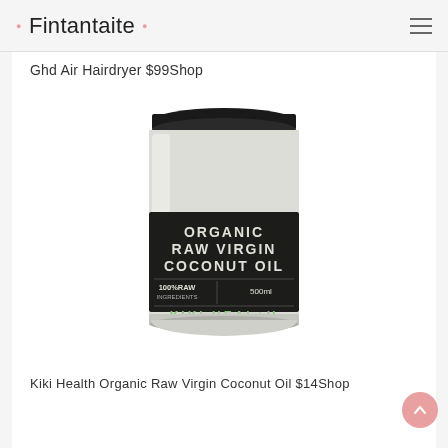• Fintantaite •
Ghd Air Hairdryer $99Shop
[Figure (photo): A glass jar of Kiki Health Organic Raw Virgin Coconut Oil with a dark label reading 'ORGANIC RAW VIRGIN COCONUT OIL, 100% RAW INGREDIENTS, 500ml, KIKI HEALTH']
Kiki Health Organic Raw Virgin Coconut Oil $14Shop